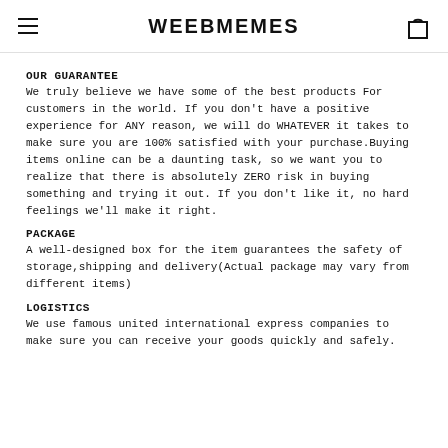WEEBMEMES
OUR GUARANTEE
We truly believe we have some of the best products For customers in the world. If you don't have a positive experience for ANY reason, we will do WHATEVER it takes to make sure you are 100% satisfied with your purchase.Buying items online can be a daunting task, so we want you to realize that there is absolutely ZERO risk in buying something and trying it out. If you don't like it, no hard feelings we'll make it right.
PACKAGE
A well-designed box for the item guarantees the safety of storage,shipping and delivery(Actual package may vary from different items)
LOGISTICS
We use famous united international express companies to make sure you can receive your goods quickly and safely.